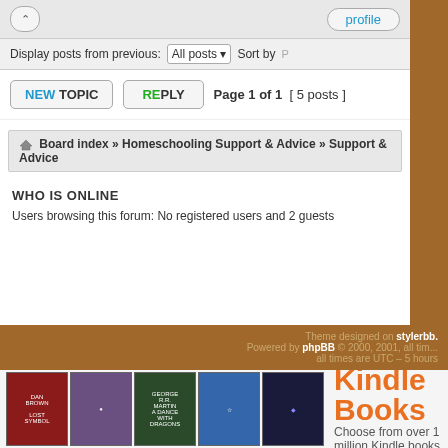Display posts from previous: All posts  Sort by
NEW TOPIC   REPLY   Page 1 of 1  [ 5 posts ]
Board index » Homeschooling Support & Advice » Support & Advice
WHO IS ONLINE
Users browsing this forum: No registered users and 2 guests
Search for:   Go
Theme designed on stylerbb. Powered by phpBB © 2000, 2001, all times are UTC - 5 hours
[Figure (screenshot): Kindle Books advertisement banner with book covers (Dan Brown Lost Symbol, and others) and text 'Kindle Books - Choose from over 1 million Kindle books']